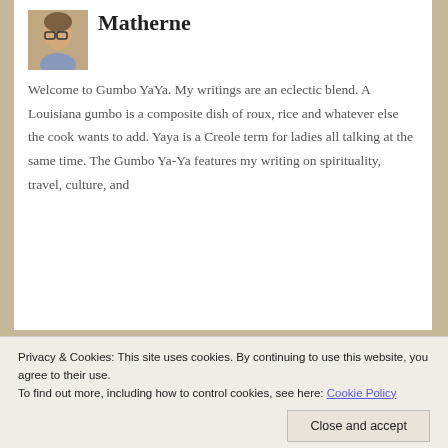[Figure (photo): Author profile photo, a woman with glasses]
Matherne
Welcome to Gumbo YaYa. My writings are an eclectic blend. A Louisiana gumbo is a composite dish of roux, rice and whatever else the cook wants to add. Yaya is a Creole term for ladies all talking at the same time. The Gumbo Ya-Ya features my writing on spirituality, travel, culture, and
Privacy & Cookies: This site uses cookies. By continuing to use this website, you agree to their use.
To find out more, including how to control cookies, see here: Cookie Policy
Close and accept